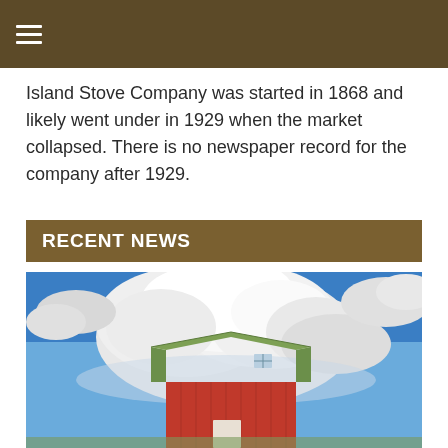≡
Island Stove Company was started in 1868 and likely went under in 1929 when the market collapsed. There is no newspaper record for the company after 1929.
RECENT NEWS
[Figure (photo): A red barn with a green roof photographed against a vivid blue sky with large white cumulus clouds billowing above it.]